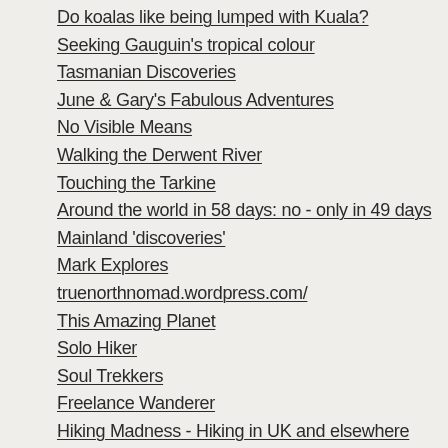Do koalas like being lumped with Kuala?
Seeking Gauguin's tropical colour
Tasmanian Discoveries
June & Gary's Fabulous Adventures
No Visible Means
Walking the Derwent River
Touching the Tarkine
Around the world in 58 days: no - only in 49 days
Mainland 'discoveries'
Mark Explores
truenorthnomad.wordpress.com/
This Amazing Planet
Solo Hiker
Soul Trekkers
Freelance Wanderer
Hiking Madness - Hiking in UK and elsewhere
Walking Back
DeeScribes
ariadnesclewblog